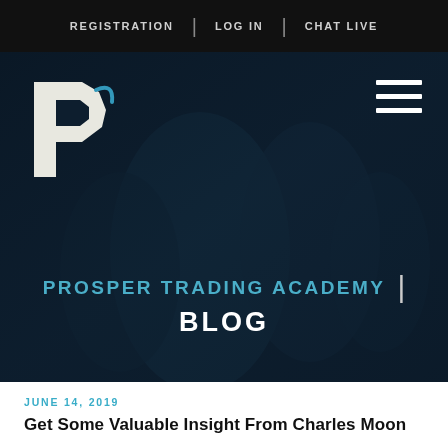REGISTRATION | LOG IN | CHAT LIVE
[Figure (screenshot): Prosper Trading Academy hero banner with dark blue background showing blurred people, a stylized P logo on the left, hamburger menu on the right, and the text 'PROSPER TRADING ACADEMY | BLOG' centered at the bottom]
JUNE 14, 2019
Get Some Valuable Insight From Charles Moon